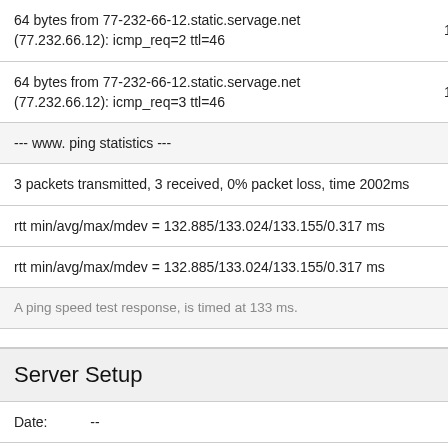| 64 bytes from 77-232-66-12.static.servage.net (77.232.66.12): icmp_req=2 ttl=46 | 132 ms |
| 64 bytes from 77-232-66-12.static.servage.net (77.232.66.12): icmp_req=3 ttl=46 | 133 ms |
| --- www. ping statistics --- |  |
| 3 packets transmitted, 3 received, 0% packet loss, time 2002ms |  |
| rtt min/avg/max/mdev = 132.885/133.024/133.155/0.317 ms |  |
| rtt min/avg/max/mdev = 132.885/133.024/133.155/0.317 ms |  |
| A ping speed test response, is timed at 133 ms. |  |
Server Setup
Date:          --